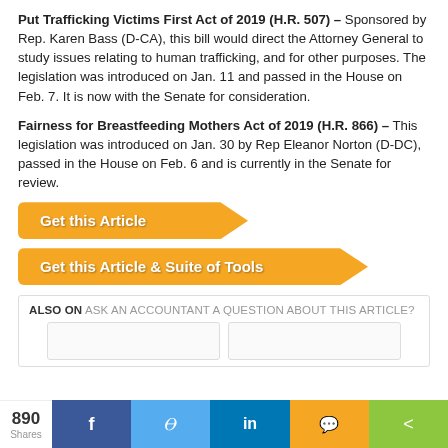Put Trafficking Victims First Act of 2019 (H.R. 507) – Sponsored by Rep. Karen Bass (D-CA), this bill would direct the Attorney General to study issues relating to human trafficking, and for other purposes. The legislation was introduced on Jan. 11 and passed in the House on Feb. 7. It is now with the Senate for consideration.
Fairness for Breastfeeding Mothers Act of 2019 (H.R. 866) – This legislation was introduced on Jan. 30 by Rep Eleanor Norton (D-DC), passed in the House on Feb. 6 and is currently in the Senate for review.
Get this Article
Get this Article & Suite of Tools
ALSO ON ASK AN ACCOUNTANT A QUESTION ABOUT THIS ARTICLE?
890 Shares